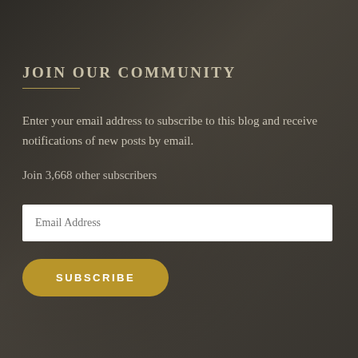JOIN OUR COMMUNITY
Enter your email address to subscribe to this blog and receive notifications of new posts by email.
Join 3,668 other subscribers